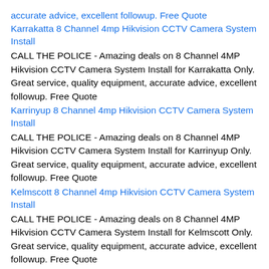accurate advice, excellent followup. Free Quote
Karrakatta 8 Channel 4mp Hikvision CCTV Camera System Install
CALL THE POLICE - Amazing deals on 8 Channel 4MP Hikvision CCTV Camera System Install for Karrakatta Only. Great service, quality equipment, accurate advice, excellent followup. Free Quote
Karrinyup 8 Channel 4mp Hikvision CCTV Camera System Install
CALL THE POLICE - Amazing deals on 8 Channel 4MP Hikvision CCTV Camera System Install for Karrinyup Only. Great service, quality equipment, accurate advice, excellent followup. Free Quote
Kelmscott 8 Channel 4mp Hikvision CCTV Camera System Install
CALL THE POLICE - Amazing deals on 8 Channel 4MP Hikvision CCTV Camera System Install for Kelmscott Only. Great service, quality equipment, accurate advice, excellent followup. Free Quote